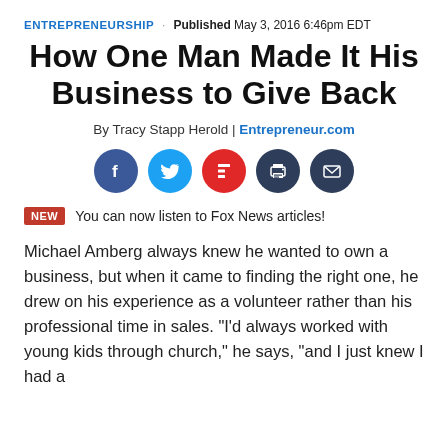ENTREPRENEURSHIP · Published May 3, 2016 6:46pm EDT
How One Man Made It His Business to Give Back
By Tracy Stapp Herold | Entrepreneur.com
[Figure (other): Social sharing icons: Facebook, Twitter, Flipboard, Print, Email]
NEW  You can now listen to Fox News articles!
Michael Amberg always knew he wanted to own a business, but when it came to finding the right one, he drew on his experience as a volunteer rather than his professional time in sales. "I'd always worked with young kids through church," he says, "and I just knew I had a